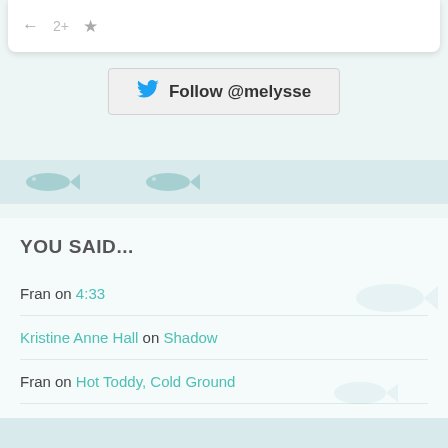[Figure (screenshot): Top of a Twitter widget card with reply, retweet, and favorite icons]
[Figure (screenshot): Follow @melysse button with Twitter bird icon]
YOU SAID...
Fran on 4:33
Kristine Anne Hall on Shadow
Fran on Hot Toddy, Cold Ground
Fran on Hot Toddy, Cold Ground
Susan on Hot Toddy, Cold Ground